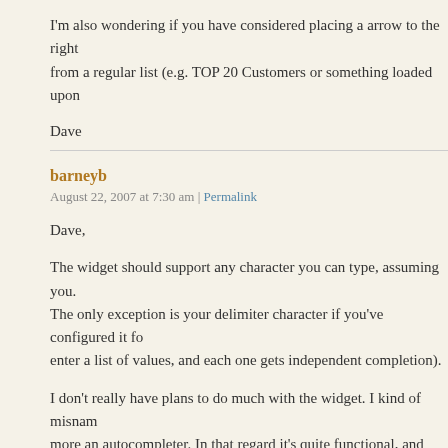I'm also wondering if you have considered placing a arrow to the right from a regular list (e.g. TOP 20 Customers or something loaded upon
Dave
barneyb
August 22, 2007 at 7:30 am | Permalink
Dave,
The widget should support any character you can type, assuming you. The only exception is your delimiter character if you've configured it fo enter a list of values, and each one gets independent completion).
I don't really have plans to do much with the widget. I kind of misnam more an autocompleter. In that regard it's quite functional, and while i as the one in Scriptaculous (http://script.aculo.us/), there are a couple better for. That has probably changed as others have upgraded, of co
Adding an explicit trigger (the down arrow) to fire the autocomplete m typing triggers it should be pretty trivial. You'll just need to invoke